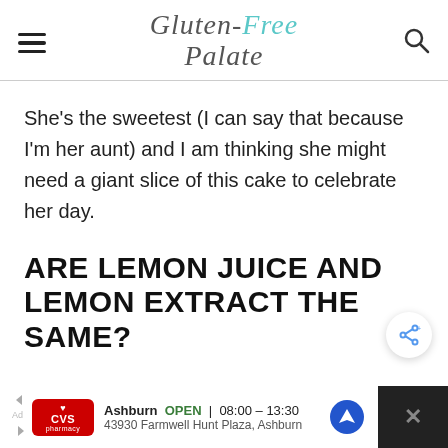Gluten-Free Palate
She's the sweetest (I can say that because I'm her aunt) and I am thinking she might need a giant slice of this cake to celebrate her day.
ARE LEMON JUICE AND LEMON EXTRACT THE SAME?
[Figure (other): Advertisement banner for CVS Pharmacy showing Ashburn location open 08:00-13:30, address 43930 Farmwell Hunt Plaza, Ashburn]